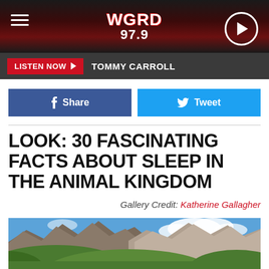WGRD 97.9
LISTEN NOW  TOMMY CARROLL
[Figure (other): Facebook Share button and Twitter Tweet button]
LOOK: 30 FASCINATING FACTS ABOUT SLEEP IN THE ANIMAL KINGDOM
Gallery Credit: Katherine Gallagher
[Figure (photo): Mountain landscape with rocky peaks, green meadows and blue sky with clouds]